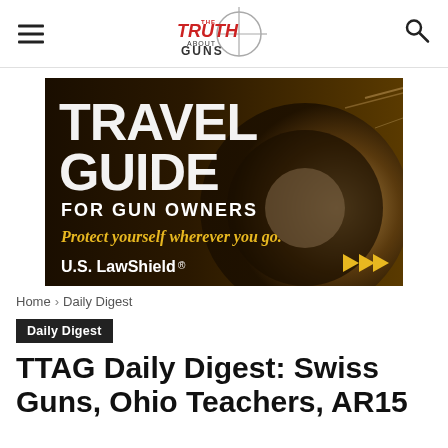The Truth About Guns
[Figure (illustration): Travel Guide for Gun Owners advertisement banner. Dark background with a spinning car tire. Text reads: TRAVEL GUIDE FOR GUN OWNERS. Italic gold text: Protect yourself wherever you go. U.S. LawShield logo with gold forward arrows.]
Home › Daily Digest
Daily Digest
TTAG Daily Digest: Swiss Guns, Ohio Teachers, AR15